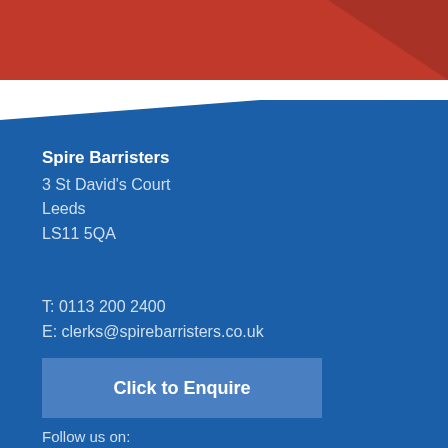[Figure (illustration): Red/dark-red banner at the top of the page with a diagonal darker section on the right side]
Spire Barristers
3 St David's Court
Leeds
LS11 5QA
T: 0113 200 2400
E: clerks@spirebarristers.co.uk
Click to Enquire
Follow us on: